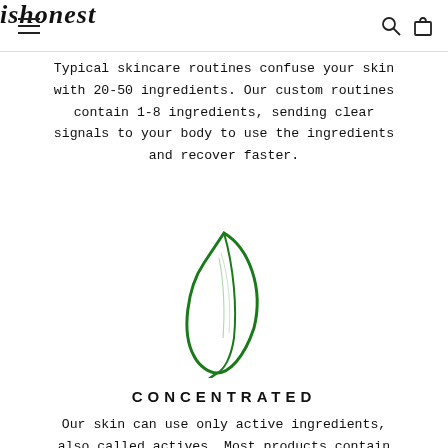ishonest
Typical skincare routines confuse your skin with 20-50 ingredients. Our custom routines contain 1-8 ingredients, sending clear signals to your body to use the ingredients and recover faster.
[Figure (illustration): Green leaf / teardrop logo illustration in dark green line art style]
CONCENTRATED
Our skin can use only active ingredients, also called actives. Most products contain up to 10% actives, whereas our products